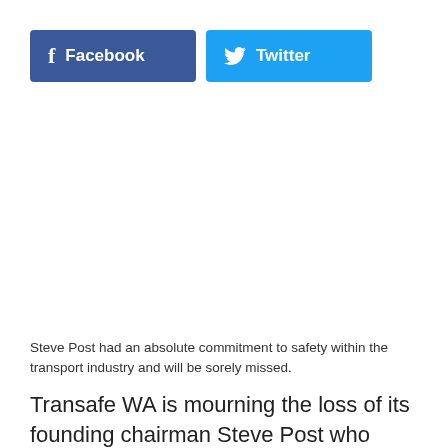[Figure (other): Social share buttons: Facebook (dark blue with f icon) and Twitter (light blue with bird icon)]
Steve Post had an absolute commitment to safety within the transport industry and will be sorely missed.
Transafe WA is mourning the loss of its founding chairman Steve Post who passed away on June 24